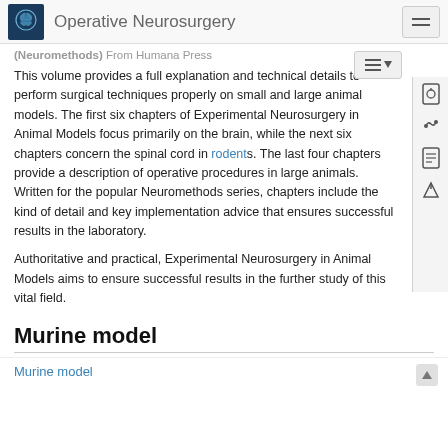Operative Neurosurgery
(Neuromethods) From Humana Press
This volume provides a full explanation and technical details to perform surgical techniques properly on small and large animal models. The first six chapters of Experimental Neurosurgery in Animal Models focus primarily on the brain, while the next six chapters concern the spinal cord in rodents. The last four chapters provide a description of operative procedures in large animals. Written for the popular Neuromethods series, chapters include the kind of detail and key implementation advice that ensures successful results in the laboratory.
Authoritative and practical, Experimental Neurosurgery in Animal Models aims to ensure successful results in the further study of this vital field.
Murine model
Murine model